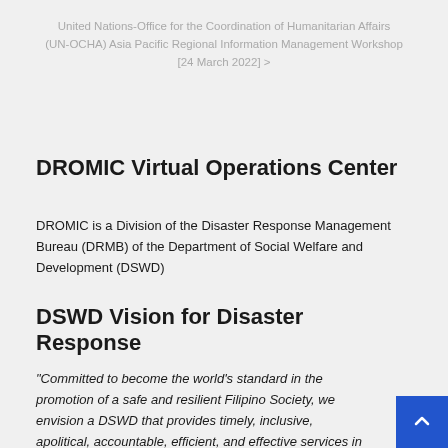United Nations-Office for the Coordination of Humanitarian Affairs (UN-OCHA) Asia Pacific Regional Information Management Workshop [24 March 2022] >
DROMIC Virtual Operations Center
DROMIC is a Division of the Disaster Response Management Bureau (DRMB) of the Department of Social Welfare and Development (DSWD)
DSWD Vision for Disaster Response
“Committed to become the world’s standard in the promotion of a safe and resilient Filipino Society, we envision a DSWD that provides timely, inclusive, apolitical, accountable, efficient, and effective services in the management of disaster response